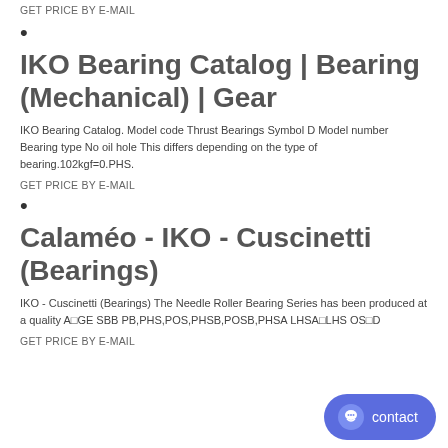GET PRICE BY E-MAIL
•
IKO Bearing Catalog | Bearing (Mechanical) | Gear
IKO Bearing Catalog. Model code Thrust Bearings Symbol D Model number Bearing type No oil hole This differs depending on the type of bearing.102kgf=0.PHS.
GET PRICE BY E-MAIL
•
Calaméo - IKO - Cuscinetti (Bearings)
IKO - Cuscinetti (Bearings) The Needle Roller Bearing Series has been produced at a quality A GE SBB PB,PHS,POS,PHSB,POSB,PHSA LHSA LHS OS D
GET PRICE BY E-MAIL